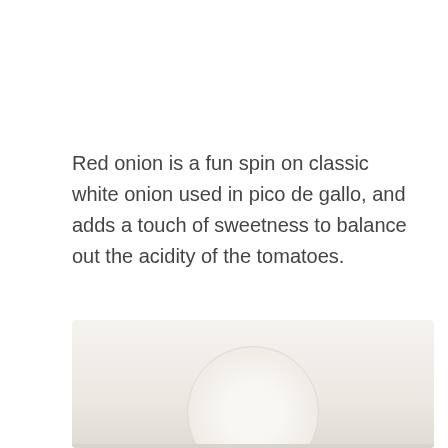Red onion is a fun spin on classic white onion used in pico de gallo, and adds a touch of sweetness to balance out the acidity of the tomatoes.
[Figure (photo): A photograph showing a light-colored bowl or dish with a white/cream interior, partially visible at the bottom of the page, set against a light background.]